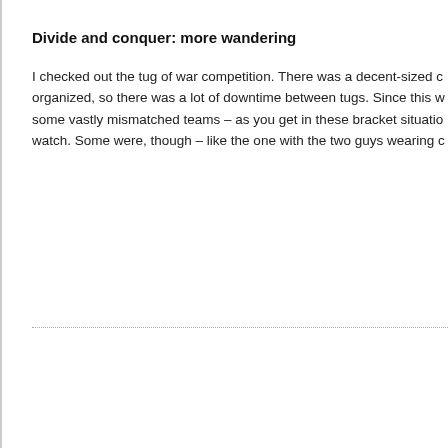Divide and conquer: more wandering
I checked out the tug of war competition. There was a decent-sized c organized, so there was a lot of downtime between tugs. Since this w some vastly mismatched teams – as you get in these bracket situatio watch. Some were, though – like the one with the two guys wearing c